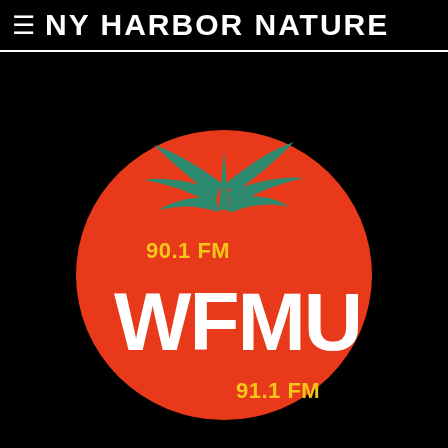≡ NY HARBOR NATURE
[Figure (logo): WFMU radio station logo: a round red tomato shape with green stem/calyx at top, white bold text 'WFMU' in the center, yellow text '90.1 FM' on the upper left and '91.1 FM' on the lower right, all on a black background.]